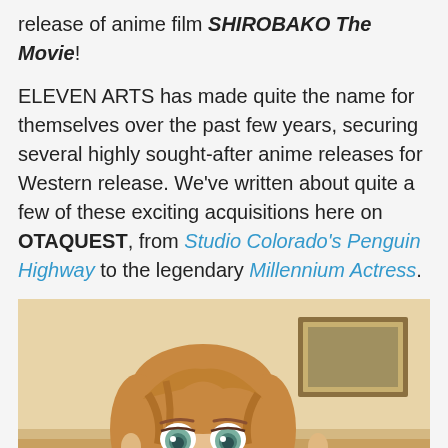release of anime film SHIROBAKO The Movie!
ELEVEN ARTS has made quite the name for themselves over the past few years, securing several highly sought-after anime releases for Western release. We've written about quite a few of these exciting acquisitions here on OTAQUEST, from Studio Colorado's Penguin Highway to the legendary Millennium Actress.
[Figure (photo): Anime screenshot from SHIROBAKO The Movie showing a female anime character with short brown/amber hair and teal eyes, looking slightly downward with a neutral expression. Background shows an indoor setting with warm beige tones.]